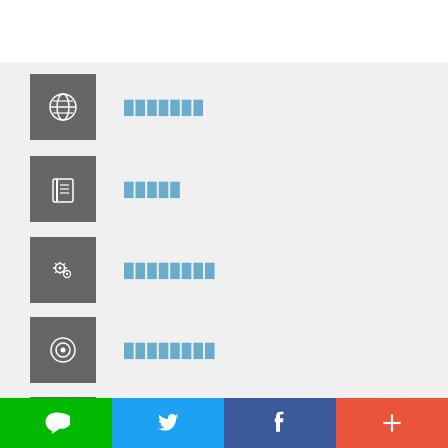xxxxxxx (globe/world icon)
xxxxx (book icon)
xxxxxxxx (settings icon)
xxxxxxxx (circle/target icon)
xxxxxxxx (laptop icon)
xxxxxxxxx (mail icon)
Nature Index (chart icon)